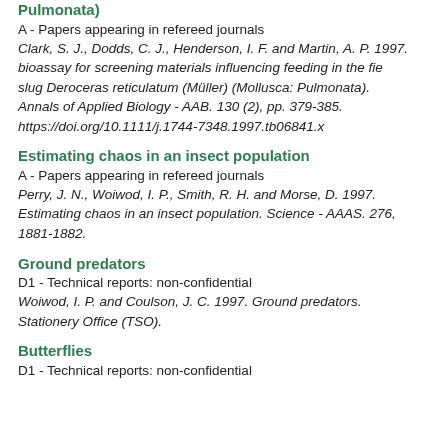Pulmonata)
A - Papers appearing in refereed journals
Clark, S. J., Dodds, C. J., Henderson, I. F. and Martin, A. P. 1997. bioassay for screening materials influencing feeding in the field slug Deroceras reticulatum (Müller) (Mollusca: Pulmonata). Annals of Applied Biology - AAB. 130 (2), pp. 379-385. https://doi.org/10.1111/j.1744-7348.1997.tb06841.x
Estimating chaos in an insect population
A - Papers appearing in refereed journals
Perry, J. N., Woiwod, I. P., Smith, R. H. and Morse, D. 1997. Estimating chaos in an insect population. Science - AAAS. 276, 1881-1882.
Ground predators
D1 - Technical reports: non-confidential
Woiwod, I. P. and Coulson, J. C. 1997. Ground predators. Stationery Office (TSO).
Butterflies
D1 - Technical reports: non-confidential